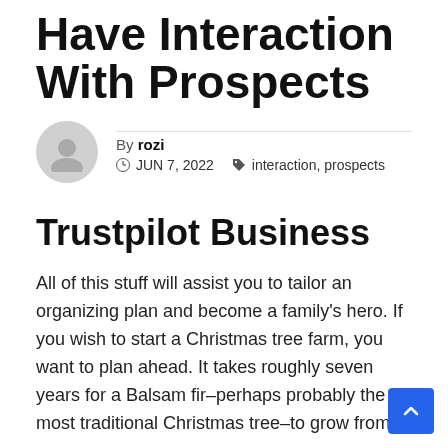Have Interaction With Prospects
By rozi  JUN 7, 2022  interaction, prospects
Trustpilot Business
All of this stuff will assist you to tailor an organizing plan and become a family's hero. If you wish to start a Christmas tree farm, you want to plan ahead. It takes roughly seven years for a Balsam fir–perhaps probably the most traditional Christmas tree–to grow from a